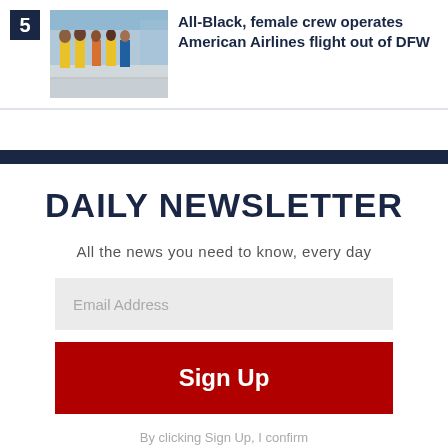[Figure (photo): Ranked #5 article thumbnail showing a group of people walking in an airport terminal wearing yellow vests]
All-Black, female crew operates American Airlines flight out of DFW
DAILY NEWSLETTER
All the news you need to know, every day
Email Address
Sign Up
By clicking Sign Up, I confirm that I have read and agree to the Privacy Policy